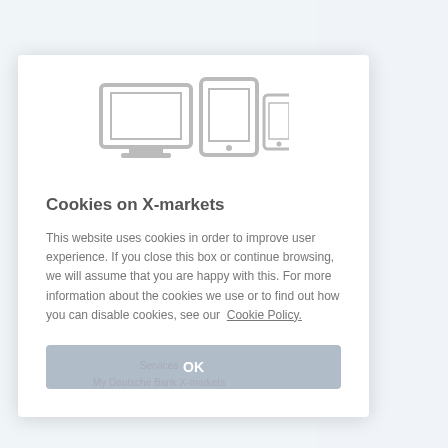[Figure (screenshot): Cookie consent modal dialog on X-markets (Deutsche Bank) website. Shows icons of desktop monitor, tablet, and smartphone at the top. Contains title 'Cookies on X-markets', body text about cookie usage, a 'Cookie Policy.' link, and an OK button. Behind the modal, partial website content is visible including a right sidebar with 'lease note: Discla...', 'Frankfurt: 22:00', menu items 'n & Academy', 'lsstrategien', 'dwissen', 'r', and bottom links 'Services' and 'My Deutsche Bank X-markets'.]
Cookies on X-markets
This website uses cookies in order to improve user experience. If you close this box or continue browsing, we will assume that you are happy with this. For more information about the cookies we use or to find out how you can disable cookies, see our  Cookie Policy.